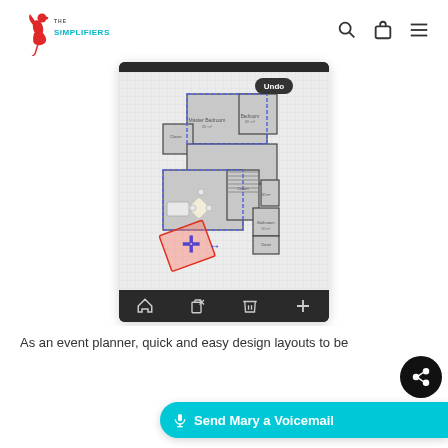[Figure (logo): The Simplifiers logo with red flamingo/dancer figure and teal text]
[Figure (screenshot): Mobile app screenshot showing a floor plan design tool with room layout, move/drag controls, and an Undo button. Bottom toolbar has home, copy, delete, and add icons.]
As an event planner, quick and easy design layouts to be